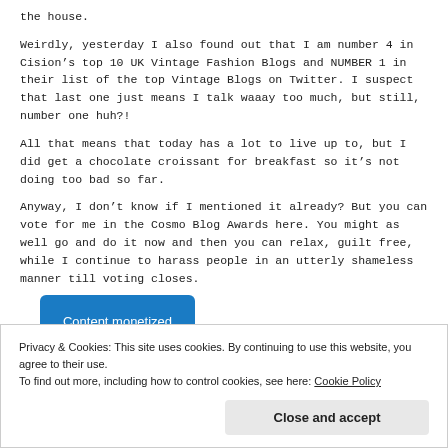the house.
Weirdly, yesterday I also found out that I am number 4 in Cision’s top 10 UK Vintage Fashion Blogs and NUMBER 1 in their list of the top Vintage Blogs on Twitter. I suspect that last one just means I talk waaay too much, but still, number one huh?!
All that means that today has a lot to live up to, but I did get a chocolate croissant for breakfast so it’s not doing too bad so far.
Anyway, I don’t know if I mentioned it already? But you can vote for me in the Cosmo Blog Awards here. You might as well go and do it now and then you can relax, guilt free, while I continue to harass people in an utterly shameless manner till voting closes.
[Figure (other): Blue button/box labeled 'Content monetized by']
Privacy & Cookies: This site uses cookies. By continuing to use this website, you agree to their use.
To find out more, including how to control cookies, see here: Cookie Policy
Close and accept